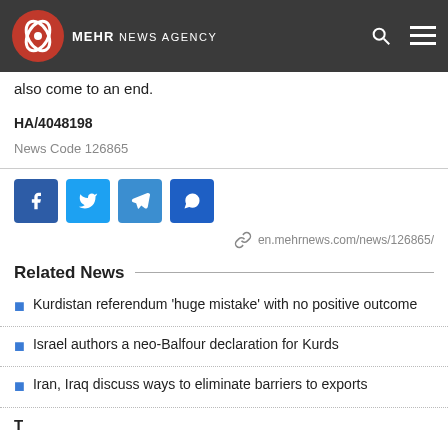MEHR NEWS AGENCY
also come to an end.
HA/4048198
News Code 126865
[Figure (infographic): Social sharing buttons: Facebook, Twitter, Telegram, WhatsApp; link: en.mehrnews.com/news/126865/]
Related News
Kurdistan referendum ‘huge mistake’ with no positive outcome
Israel authors a neo-Balfour declaration for Kurds
Iran, Iraq discuss ways to eliminate barriers to exports